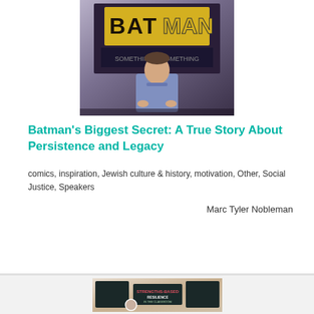[Figure (photo): Man standing on stage in front of a Batman sign, wearing a blue shirt]
Batman’s Biggest Secret: A True Story About Persistence and Legacy
comics, inspiration, Jewish culture & history, motivation, Other, Social Justice, Speakers
Marc Tyler Nobleman
[Figure (photo): Book or resource cover titled Strengths-Based Resilience in the Classroom, illustrated infographic style with a woman and classroom scene]